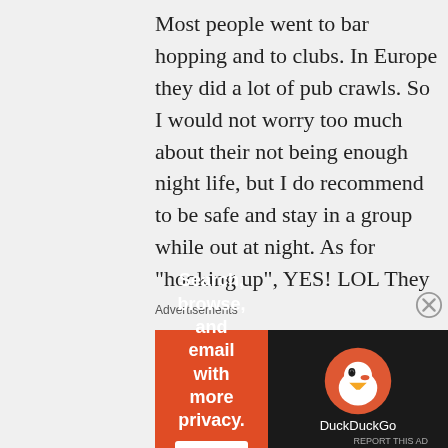Most people went to bar hopping and to clubs. In Europe they did a lot of pub crawls. So I would not worry too much about their not being enough night life, but I do recommend to be safe and stay in a group while out at night. As for “hooking up”, YES! LOL They keep it “quite” but rumors spread. Chances are people in your group will hook up. lol

Anyways Corey, I hope I answered all your questions!!! If you have any
Advertisements
[Figure (other): DuckDuckGo advertisement banner: orange section with text 'Search, browse, and email with more privacy.' and 'All in One Free App' button; dark section with DuckDuckGo duck logo and brand name.]